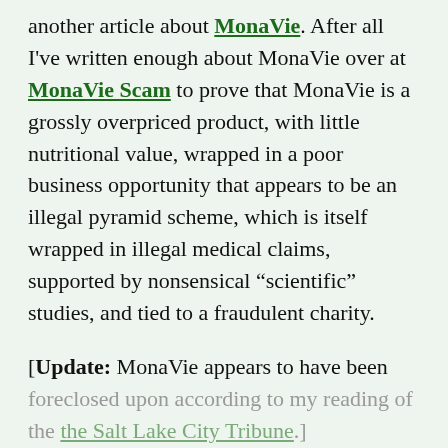another article about MonaVie. After all I've written enough about MonaVie over at MonaVie Scam to prove that MonaVie is a grossly overpriced product, with little nutritional value, wrapped in a poor business opportunity that appears to be an illegal pyramid scheme, which is itself wrapped in illegal medical claims, supported by nonsensical “scientific” studies, and tied to a fraudulent charity.
[Update: MonaVie appears to have been foreclosed upon according to my reading of the the Salt Lake City Tribune.]